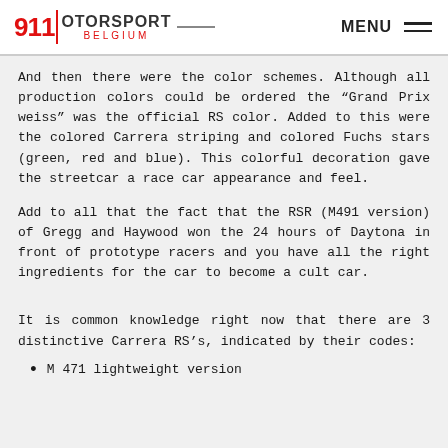911 MOTORSPORT BELGIUM | MENU
And then there were the color schemes. Although all production colors could be ordered the “Grand Prix weiss” was the official RS color. Added to this were the colored Carrera striping and colored Fuchs stars (green, red and blue). This colorful decoration gave the streetcar a race car appearance and feel.
Add to all that the fact that the RSR (M491 version) of Gregg and Haywood won the 24 hours of Daytona in front of prototype racers and you have all the right ingredients for the car to become a cult car.
It is common knowledge right now that there are 3 distinctive Carrera RS’s, indicated by their codes:
M 471 lightweight version